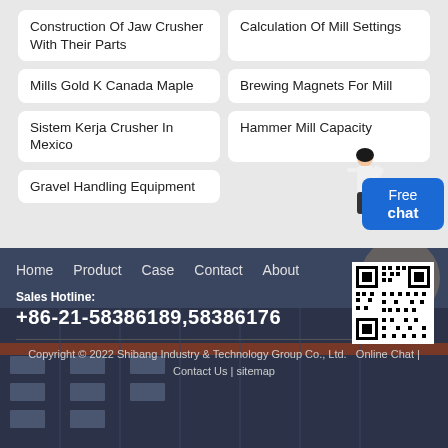Construction Of Jaw Crusher With Their Parts
Calculation Of Mill Settings
Mills Gold K Canada Maple
Brewing Magnets For Mill
Sistem Kerja Crusher In Mexico
Hammer Mill Capacity
Gravel Handling Equipment
Home  Product  Case  Contact  About
Sales Hotline: +86-21-58386189,58386176
Copyright © 2022 Shibang Industry & Technology Group Co., Ltd.  Online Chat | Contact Us | sitemap